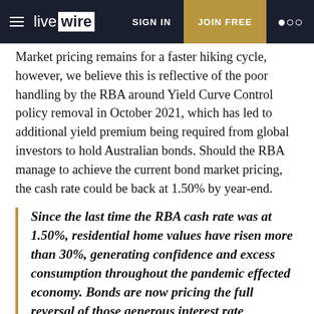livewire | SIGN IN | JOIN FREE
Market pricing remains for a faster hiking cycle, however, we believe this is reflective of the poor handling by the RBA around Yield Curve Control policy removal in October 2021, which has led to additional yield premium being required from global investors to hold Australian bonds. Should the RBA manage to achieve the current bond market pricing, the cash rate could be back at 1.50% by year-end.
Since the last time the RBA cash rate was at 1.50%, residential home values have risen more than 30%, generating confidence and excess consumption throughout the pandemic effected economy. Bonds are now pricing the full reversal of those generous interest rate